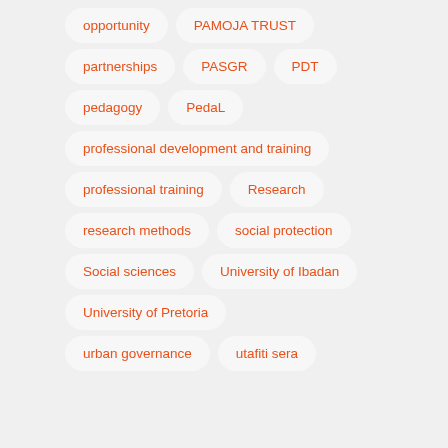opportunity
PAMOJA TRUST
partnerships
PASGR
PDT
pedagogy
PedaL
professional development and training
professional training
Research
research methods
social protection
Social sciences
University of Ibadan
University of Pretoria
urban governance
utafiti sera